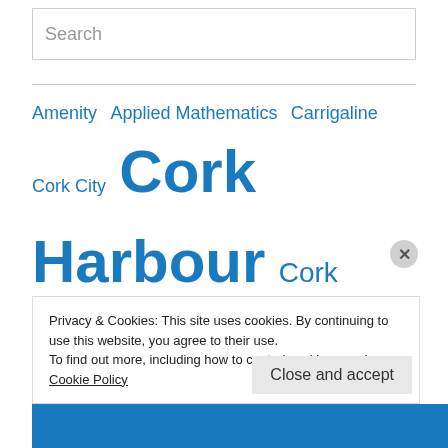Search
Amenity Applied Mathematics Carrigaline Cork City Cork Harbour Cork Swansea Ferry Crosshaven Douglas Economy Education Energy Environment Food Heritage Housing
Privacy & Cookies: This site uses cookies. By continuing to use this website, you agree to their use.
To find out more, including how to control cookies, see here: Cookie Policy
Close and accept